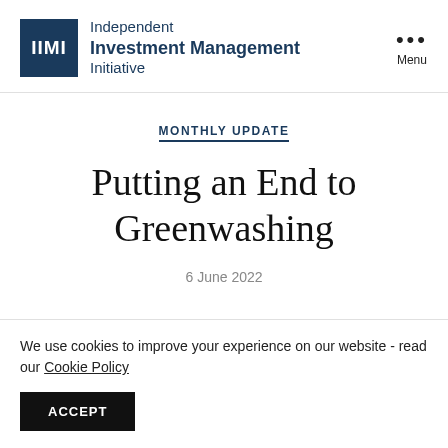IIMI Independent Investment Management Initiative
MONTHLY UPDATE
Putting an End to Greenwashing
6 June 2022
We use cookies to improve your experience on our website - read our Cookie Policy
ACCEPT